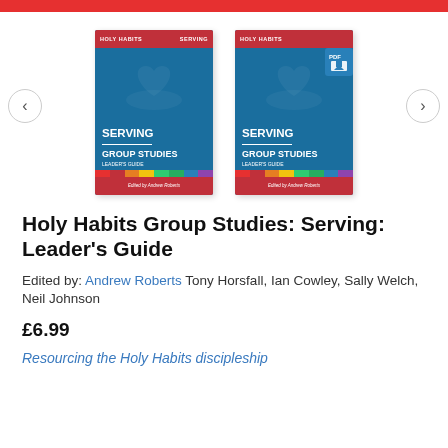[Figure (screenshot): Red top navigation bar]
[Figure (photo): Two book covers for 'Holy Habits Group Studies: Serving Leader's Guide' shown in a carousel. The left cover is the physical book and the right cover has a PDF badge. Both covers show a blue background with a red top and bottom bar, a heart/hands icon, and colored strips. Text reads: SERVING, GROUP STUDIES, LEADER'S GUIDE, Edited by Andrew Roberts. Navigation arrows on left (<) and right (>).]
Holy Habits Group Studies: Serving: Leader's Guide
Edited by: Andrew Roberts Tony Horsfall, Ian Cowley, Sally Welch, Neil Johnson
£6.99
Resourcing the Holy Habits discipleship